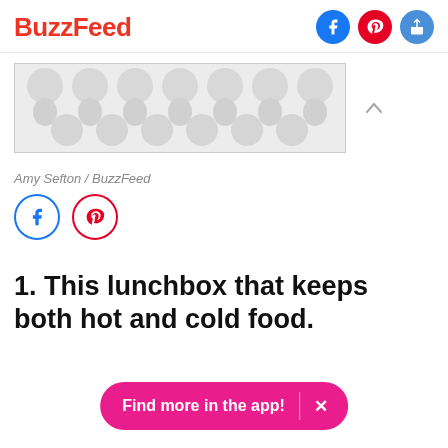BuzzFeed
[Figure (other): Advertisement banner with decorative grey pattern (circles/teardrops on light grey background)]
Amy Sefton / BuzzFeed
[Figure (other): Social share icons row: Facebook (blue circle outline) and Pinterest (red circle outline)]
1. This lunchbox that keeps both hot and cold food.
Find more in the app!